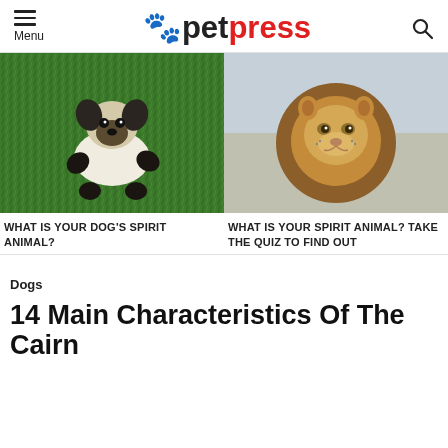petpress — Menu / Search
[Figure (photo): Pug dog lying on green grass with arms spread out]
WHAT IS YOUR DOG'S SPIRIT ANIMAL?
[Figure (photo): Majestic lion with full mane in outdoor setting]
WHAT IS YOUR SPIRIT ANIMAL? TAKE THE QUIZ TO FIND OUT
Dogs
14 Main Characteristics Of The Cairn